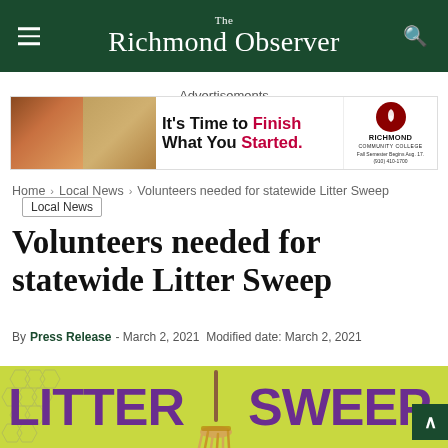The Richmond Observer
Advertisements
[Figure (photo): Richmond Community College advertisement banner: 'It's Time to Finish What You Started.' with photos of graduates and the Richmond Community College logo. Fall Semester Begins Aug. 17. (910) 410-1700.]
Home > Local News > Volunteers needed for statewide Litter Sweep
Local News
Volunteers needed for statewide Litter Sweep
By Press Release - March 2, 2021 Modified date: March 2, 2021
[Figure (illustration): Litter Sweep promotional banner with broom graphic on yellow-green honeycomb background, text reading 'LITTER SWEEP' in large purple bold letters.]